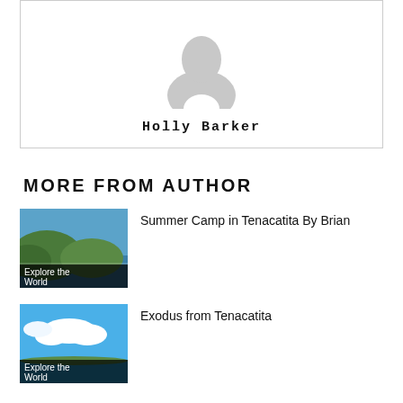[Figure (illustration): Generic user avatar silhouette in grey, centered in a bordered box with author name Holly Barker below]
Holly Barker
MORE FROM AUTHOR
[Figure (photo): Tropical bay with green hills and water, labeled 'Explore the World']
Summer Camp in Tenacatita By Brian
[Figure (photo): Bright blue sky with white clouds over water and distant shoreline, labeled 'Explore the World']
Exodus from Tenacatita